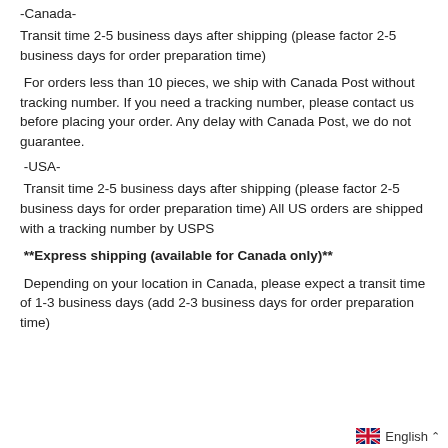-Canada-
Transit time 2-5 business days after shipping (please factor 2-5 business days for order preparation time)
For orders less than 10 pieces, we ship with Canada Post without tracking number. If you need a tracking number, please contact us before placing your order. Any delay with Canada Post, we do not guarantee.
-USA-
Transit time 2-5 business days after shipping (please factor 2-5 business days for order preparation time) All US orders are shipped with a tracking number by USPS
**Express shipping (available for Canada only)**
Depending on your location in Canada, please expect a transit time of 1-3 business days (add 2-3 business days for order preparation time)
English